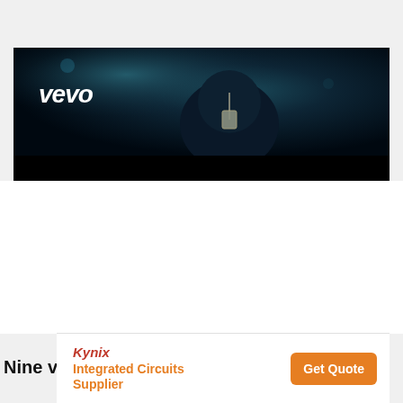[Figure (screenshot): Vevo music video thumbnail showing a person in a denim jacket with a chain necklace against a dark teal/blue background, with the Vevo logo in white italic text on the left side]
[Figure (screenshot): Advertisement banner for Kynix Integrated Circuits Supplier with Kynix logo in red italic, description text in orange, and an orange Get Quote button]
Nine v